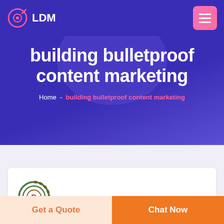LDM
building bulletproof content marketing
Home  -  building bulletproof content marketing
[Figure (logo): DEFKON circular logo with letter D in center, green and red color scheme, with DEFKON text below in red]
Get a Quote
Chat Now